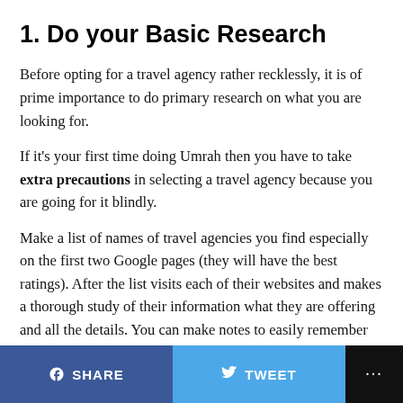1. Do your Basic Research
Before opting for a travel agency rather recklessly, it is of prime importance to do primary research on what you are looking for.
If it's your first time doing Umrah then you have to take extra precautions in selecting a travel agency because you are going for it blindly.
Make a list of names of travel agencies you find especially on the first two Google pages (they will have the best ratings). After the list visits each of their websites and makes a thorough study of their information what they are offering and all the details. You can make notes to easily remember it.
f SHARE   TWEET   ...